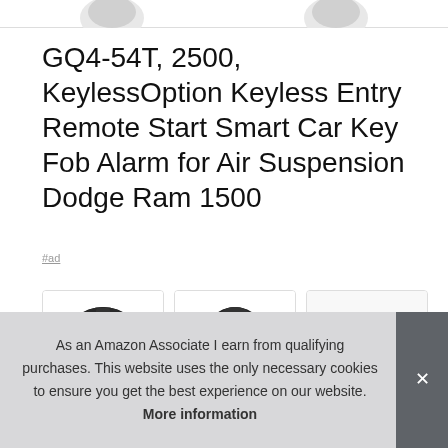[Figure (photo): Partial top edge of product image strip showing key fob product images]
GQ4-54T, 2500, KeylessOption Keyless Entry Remote Start Smart Car Key Fob Alarm for Air Suspension Dodge Ram 1500
#ad
[Figure (photo): Three product images of key fobs in bordered boxes arranged in a row]
As an Amazon Associate I earn from qualifying purchases. This website uses the only necessary cookies to ensure you get the best experience on our website. More information